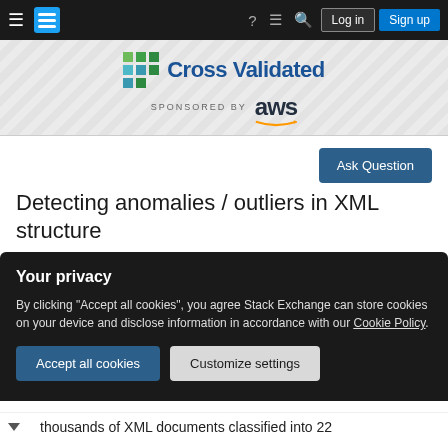Cross Validated — Sponsored by aws
[Figure (screenshot): Cross Validated logo with teal/green grid icon and 'Cross Validated' text in blue, with 'SPONSORED BY aws' below]
Ask Question
Detecting anomalies / outliers in XML structure
Asked 6 years, 11 months ago   Modified 6 years, 11 months ago
Your privacy
By clicking "Accept all cookies", you agree Stack Exchange can store cookies on your device and disclose information in accordance with our Cookie Policy.
Accept all cookies   Customize settings
thousands of XML documents classified into 22